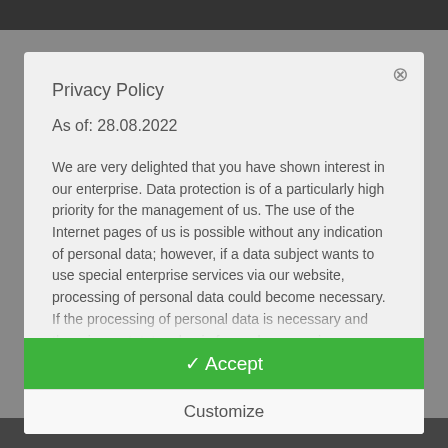Privacy Policy
As of: 28.08.2022
We are very delighted that you have shown interest in our enterprise. Data protection is of a particularly high priority for the management of us. The use of the Internet pages of us is possible without any indication of personal data; however, if a data subject wants to use special enterprise services via our website, processing of personal data could become necessary. If the processing of personal data is necessary and there is no statutory basis for such processing, we generally obtain consent from the data subject.
The processing of personal data, such as the name, address, e-mail address, or telephone number of a data subject shall
✓ Accept
Customize